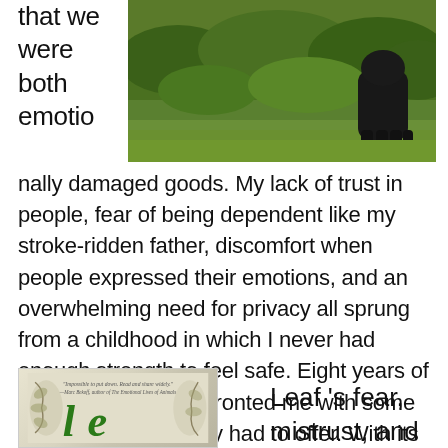that we were both emotio
[Figure (photo): Outdoor photo showing grass and dark animal (likely a black bear or dog) on green grass background]
nally damaged goods. My lack of trust in people, fear of being dependent like my stroke-ridden father, discomfort when people expressed their emotions, and an overwhelming need for privacy all sprung from a childhood in which I never had enough strength to feel safe. Eight years of police work had confronted me with some of the worst humanity had to offer. With its random violence, it had reinforced my low opinion of anyone's, including my own, trustworthiness.
[Figure (photo): Book cover with decorative leaf/nature illustration, quote text, and green stylized letter text]
Leaf 's fear, mistrust, and